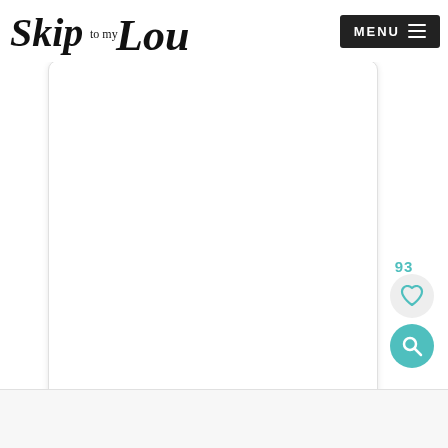Skip to my Lou | MENU
[Figure (illustration): White rounded rectangle card area — blank content area]
93
[Figure (infographic): Heart icon button (circular, light gray background, teal heart)]
[Figure (infographic): Search/magnifier icon button (circular, teal background, white magnifier icon)]